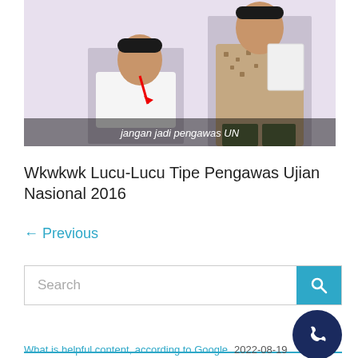[Figure (photo): Screenshot of a video showing two men in an office/exam setting, one seated writing and one standing holding papers. Subtitle text reads 'jangan jadi pengawas UN'.]
Wkwkwk Lucu-Lucu Tipe Pengawas Ujian Nasional 2016
← Previous
[Figure (screenshot): Search bar with a teal search button containing a magnifying glass icon.]
[Figure (screenshot): Teal banner with RSS icon and text 'Search Engine Land', with a dark navy phone button circle on the right.]
What is helpful content, according to Google 2022-08-19